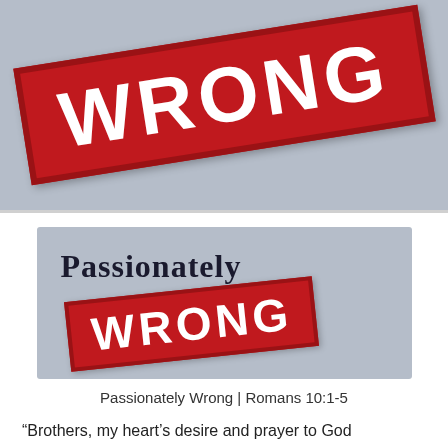[Figure (illustration): A light gray background with a large red stamp reading WRONG in white bold letters, rotated slightly counterclockwise, partially cropped at top]
[Figure (illustration): A light gray card image showing 'Passionately' in large dark bold serif text above a red stamp reading WRONG in white bold letters, rotated slightly]
Passionately Wrong | Romans 10:1-5
“Brothers, my heart’s desire and prayer to God concerning them is for their salvation! I can testify